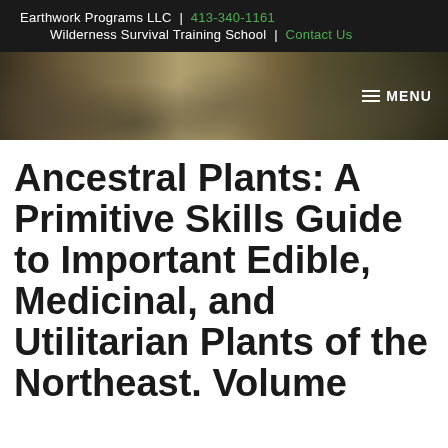Earthwork Programs LLC | 413-340-1161
Wilderness Survival Training School | Contact Us
[Figure (photo): Forest/nature banner image showing mossy rocks and tree trunks in a wooded setting, with a MENU navigation button in the top right corner]
Ancestral Plants: A Primitive Skills Guide to Important Edible, Medicinal, and Utilitarian Plants of the Northeast. Volume